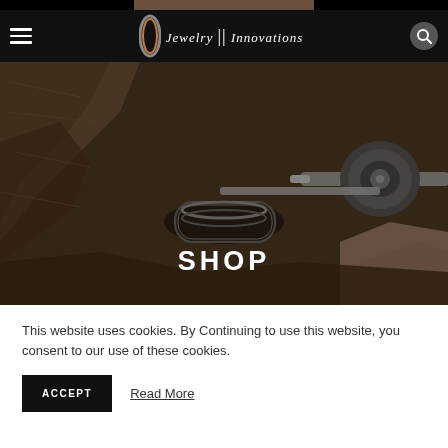[Figure (screenshot): Partial image strip at very top of page, dark/brown tones]
Jewelry Innovations — navigation bar with hamburger menu and search button
[Figure (photo): Close-up photo of a craftsman's hands working on a metal ring with a lathe/grinding tool, dark sepia tones]
SHOP
This website uses cookies. By Continuing to use this website, you consent to our use of these cookies.
ACCEPT   Read More